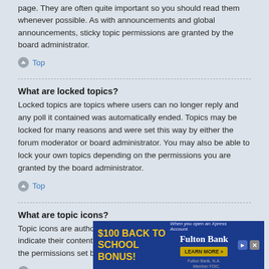page. They are often quite important so you should read them whenever possible. As with announcements and global announcements, sticky topic permissions are granted by the board administrator.
Top
What are locked topics?
Locked topics are topics where users can no longer reply and any poll it contained was automatically ended. Topics may be locked for many reasons and were set this way by either the forum moderator or board administrator. You may also be able to lock your own topics depending on the permissions you are granted by the board administrator.
Top
What are topic icons?
Topic icons are author chosen images associated with posts to indicate their content. The ability to use topic icons depends on the permissions set by the board administrator.
Top
User Levels and Groups
What are
Administrators over the
[Figure (other): Advertisement banner for Fulton Bank offering $100 Back to School Bonus when opening an Xpress Account, with Learn More button.]